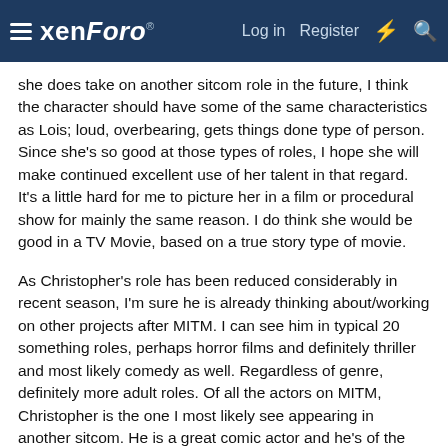xenForo  Log in  Register
she does take on another sitcom role in the future, I think the character should have some of the same characteristics as Lois; loud, overbearing, gets things done type of person. Since she's so good at those types of roles, I hope she will make continued excellent use of her talent in that regard. It's a little hard for me to picture her in a film or procedural show for mainly the same reason. I do think she would be good in a TV Movie, based on a true story type of movie.
As Christopher's role has been reduced considerably in recent season, I'm sure he is already thinking about/working on other projects after MITM. I can see him in typical 20 something roles, perhaps horror films and definitely thriller and most likely comedy as well. Regardless of genre, definitely more adult roles. Of all the actors on MITM, Christopher is the one I most likely see appearing in another sitcom. He is a great comic actor and he's of the correct age that most shows go after and he certainly has experience so he will most likely be in demand for pilots, at the least.